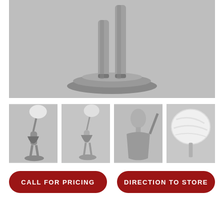[Figure (photo): Close-up of Art Deco figurine lamp base — dancer legs in silver metallic finish standing on a tiered round base, gray background]
[Figure (photo): Full view of Art Deco lady figurine floor lamp, silver finish, holding globe shade aloft, dark sequined dress]
[Figure (photo): Second full view of Art Deco lady figurine floor lamp, silver finish, side angle]
[Figure (photo): Close-up of figurine lamp torso and head in silver metallic finish]
[Figure (photo): Close-up of frosted white glass globe shade]
CALL FOR PRICING
DIRECTION TO STORE